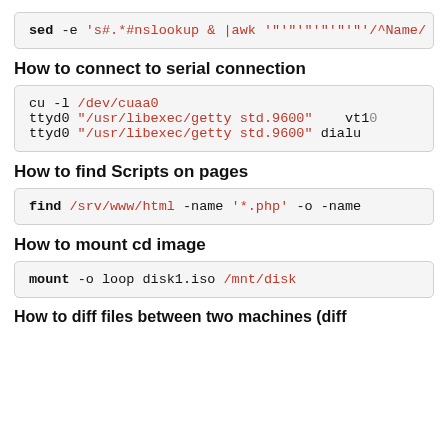sed -e 's#.*#nslookup & |awk '"'"'/^Name/
How to connect to serial connection
cu -l /dev/cuaa0
ttyd0 "/usr/libexec/getty std.9600"    vt10
ttyd0 "/usr/libexec/getty std.9600" dialu
How to find Scripts on pages
find /srv/www/html -name '*.php' -o -name
How to mount cd image
mount -o loop disk1.iso /mnt/disk
How to diff files between two machines (diff